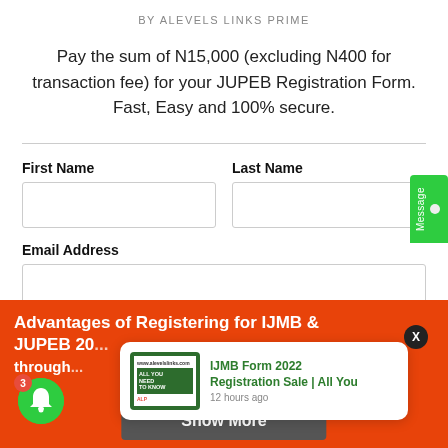BY ALEVELS LINKS PRIME
Pay the sum of N15,000 (excluding N400 for transaction fee) for your JUPEB Registration Form. Fast, Easy and 100% secure.
First Name
Last Name
Email Address
Advantages of Registering for IJMB & JUPEB 20... through...
[Figure (screenshot): Notification popup showing IJMB Form 2022 Registration Sale | All You, 12 hours ago, with thumbnail of a form document]
IJMB Form 2022 Registration Sale | All You
12 hours ago
Show More